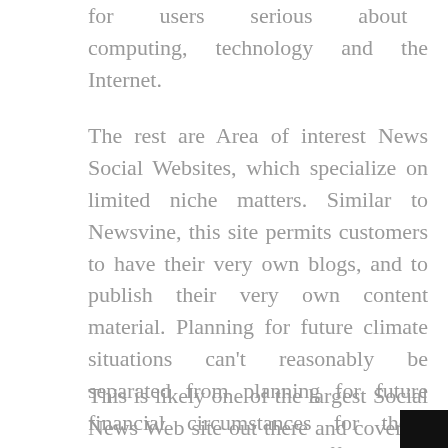for users serious about computing, technology and the Internet.
The rest are Area of interest News Social Websites, which specialize on limited niche matters. Similar to Newsvine, this site permits customers to have their very own blogs, and to publish their very own content material. Planning for future climate situations can't reasonably be separated from planning for future financial circumstances for those companies which are affected by climate.
This is likely one of the largest Social News Web site out there and covers a huge